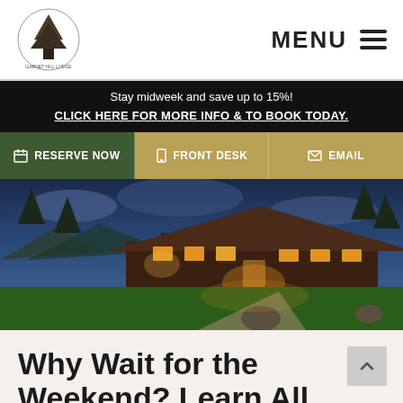Garnet Hill Lodge — MENU
Stay midweek and save up to 15%! CLICK HERE FOR MORE INFO & TO BOOK TODAY.
RESERVE NOW  FRONT DESK  EMAIL
[Figure (photo): Exterior night photo of a large dark-wood lodge building with warm glowing lights, surrounded by trees, green lawn, and a gravel driveway with rocks. Dramatic blue dusk sky.]
Why Wait for the Weekend? Learn All the